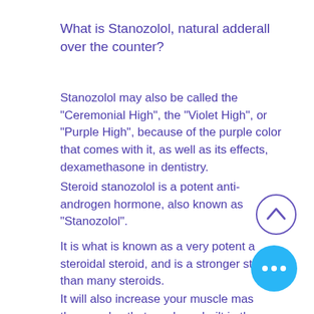What is Stanozolol, natural adderall over the counter?
Stanozolol may also be called the "Ceremonial High", the "Violet High", or "Purple High", because of the purple color that comes with it, as well as its effects, dexamethasone in dentistry.
Steroid stanozolol is a potent anti-androgen hormone, also known as "Stanozolol".
It is what is known as a very potent a steroidal steroid, and is a stronger ste than many steroids.
It will also increase your muscle mas the muscles that you have built in the